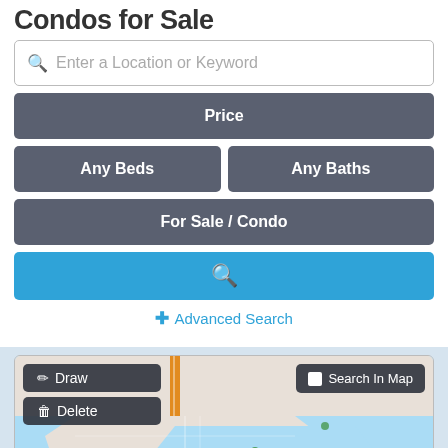Condos for Sale
Enter a Location or Keyword
Price
Any Beds
Any Baths
For Sale / Condo
Advanced Search
[Figure (screenshot): Interactive map showing coastal/waterway area with price markers ($24OK, $18OK, $11, $1l, $255K), Draw and Delete overlay buttons, zoom in/out controls, Search In Map checkbox button, layers button, and accessibility icon.]